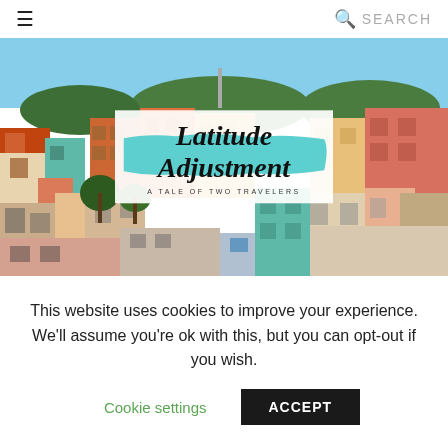☰  SEARCH
[Figure (photo): Colorful hillside buildings in what appears to be Guanajuato, Mexico, with the Latitude Adjustment blog logo overlaid in the center showing a brush-stroke teal/turquoise background with the text 'Latitude Adjustment — A TALE OF TWO TRAVELERS']
This website uses cookies to improve your experience. We'll assume you're ok with this, but you can opt-out if you wish.
Cookie settings  ACCEPT